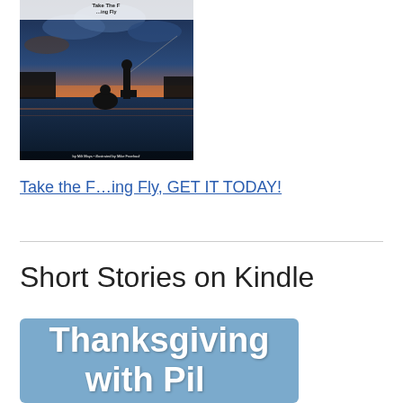[Figure (photo): Book cover of 'Take the F...ing Fly' showing fly fishing scene at sunset with two figures near water, dramatic blue sky. Text: 'by Milt Mays • illustrated by Mike Froehauf']
Take the F…ing Fly, GET IT TODAY!
Short Stories on Kindle
[Figure (illustration): Blue banner image with large white bold text reading 'Thanksgiving with Pil...' (partially visible at bottom of page)]